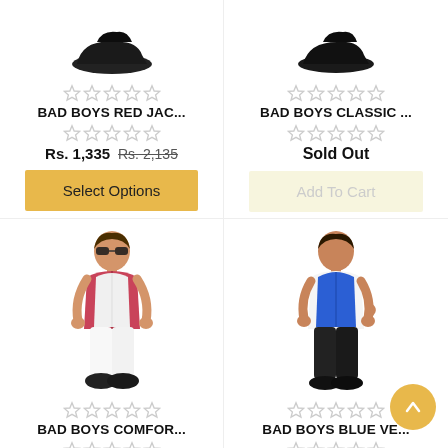[Figure (photo): Shoe product image (cropped top) for BAD BOYS RED JAC...]
☆☆☆☆☆
BAD BOYS RED JAC...
☆☆☆☆☆
Rs. 1,335 Rs. 2,135
Select Options
[Figure (photo): Shoe product image (cropped top) for BAD BOYS CLASSIC ...]
☆☆☆☆☆
BAD BOYS CLASSIC ...
☆☆☆☆☆
Sold Out
Add To Cart
[Figure (photo): Boy wearing white vest over checked shirt with white pants and sunglasses]
☆☆☆☆☆
BAD BOYS COMFOR...
☆☆☆☆☆
Rs. 1,495 Rs. 1,795
[Figure (photo): Boy wearing blue vest over white shirt with black pants]
☆☆☆☆☆
BAD BOYS BLUE VE...
☆☆☆☆☆
Sold Out